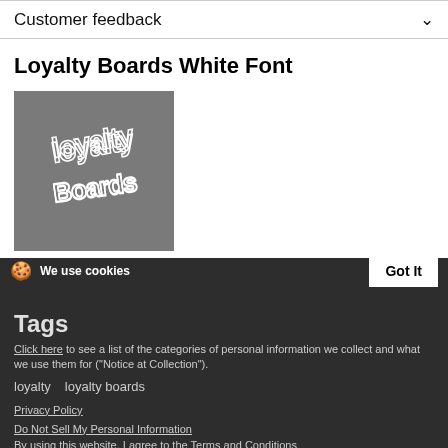Customer feedback
Loyalty Boards White Font
[Figure (logo): Gray square logo with white graffiti-style 'Loyalty Boards' lettering on dark gray background]
Tags
Click here to see a list of the categories of personal information we collect and what we use them for ("Notice at Collection").
loyalty   loyalty boards
Privacy Policy
Do Not Sell My Personal Information
By using this website, I agree to the Terms and Conditions
Share